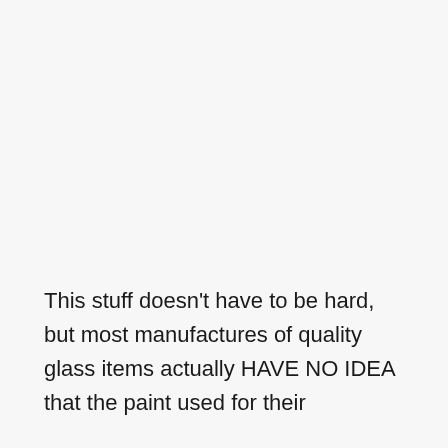This stuff doesn't have to be hard, but most manufactures of quality glass items actually HAVE NO IDEA that the paint used for their